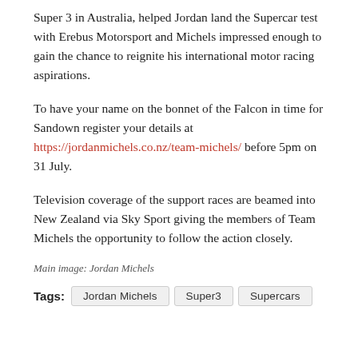Super 3 in Australia, helped Jordan land the Supercar test with Erebus Motorsport and Michels impressed enough to gain the chance to reignite his international motor racing aspirations.
To have your name on the bonnet of the Falcon in time for Sandown register your details at https://jordanmichels.co.nz/team-michels/ before 5pm on 31 July.
Television coverage of the support races are beamed into New Zealand via Sky Sport giving the members of Team Michels the opportunity to follow the action closely.
Main image: Jordan Michels
Tags: Jordan Michels  Super3  Supercars